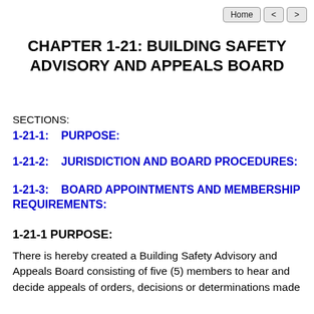Home  <  >
CHAPTER 1-21: BUILDING SAFETY ADVISORY AND APPEALS BOARD
SECTIONS:
1-21-1:    PURPOSE:
1-21-2:    JURISDICTION AND BOARD PROCEDURES:
1-21-3:    BOARD APPOINTMENTS AND MEMBERSHIP REQUIREMENTS:
1-21-1 PURPOSE:
There is hereby created a Building Safety Advisory and Appeals Board consisting of five (5) members to hear and decide appeals of orders, decisions or determinations made